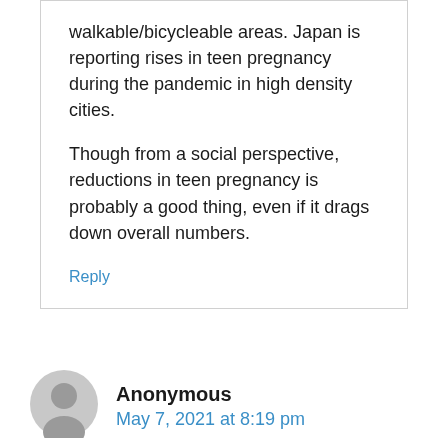walkable/bicycleable areas. Japan is reporting rises in teen pregnancy during the pandemic in high density cities.
Though from a social perspective, reductions in teen pregnancy is probably a good thing, even if it drags down overall numbers.
Reply
Anonymous
May 7, 2021 at 8:19 pm